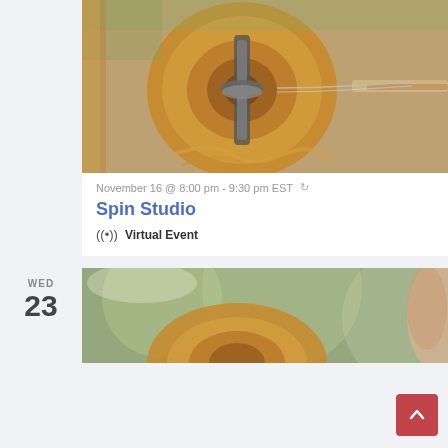[Figure (photo): Close-up photo of wood turning on a lathe, with wooden disc and metal tool, warm brown tones]
November 16 @ 8:00 pm - 9:30 pm EST ↻
Spin Studio
((•)) Virtual Event
WED
23
[Figure (photo): Close-up photo of wood turning on a lathe, partial view, green and brown tones]